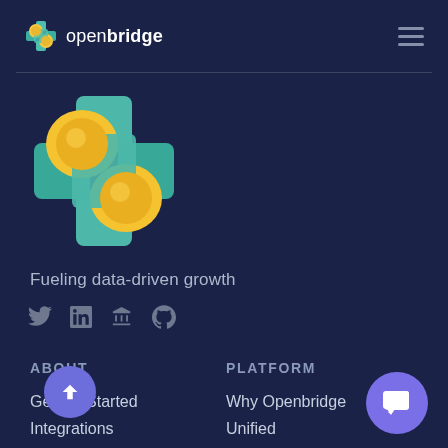[Figure (logo): Openbridge logo: colorful cross/pinwheel icon with teal and yellow shapes, followed by text 'openbridge' in white where 'bridge' is bold]
[Figure (logo): Large Openbridge logo icon: colorful cross/pinwheel with teal and yellow shapes]
Fueling data-driven growth
[Figure (infographic): Social media icons: Twitter bird, LinkedIn square, Blog/Badgeville icon, GitHub octocat]
ABOUT
Getting Started
Integrations
Documentation
Pricing
PLATFORM
Why Openbridge
Unified
Automation
Private
Multi-cloud